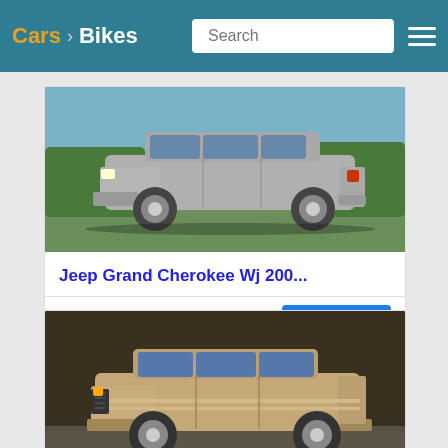Cars  Bikes  Search
[Figure (photo): Silver Jeep Grand Cherokee WJ SUV parked near water, side profile view]
Jeep Grand Cherokee Wj 200...
USD$14.80
Add to cart
[Figure (photo): Tan/gold Jeep Grand Cherokee SUV, side profile view on road]